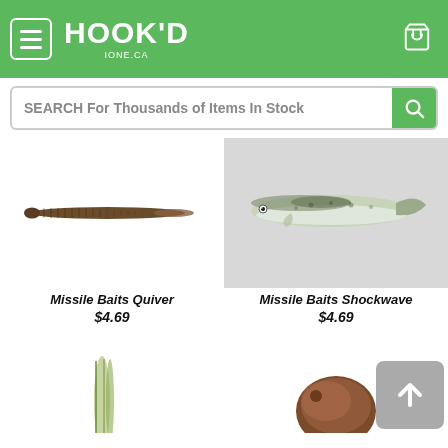HOOK'D | IONE.CA
SEARCH For Thousands of Items In Stock
[Figure (photo): Missile Baits Quiver fishing lure - thin worm-style soft plastic bait, brown/green color]
Missile Baits Quiver
$4.69
[Figure (photo): Missile Baits Shockwave fishing lure - paddle tail swimbait, silver/white with black spots]
Missile Baits Shockwave
$4.69
[Figure (photo): Fishing lure - thin worm bait, green/white color, partially visible at bottom left]
[Figure (photo): Fishing lure - brown/copper colored bait, partially visible at bottom right]